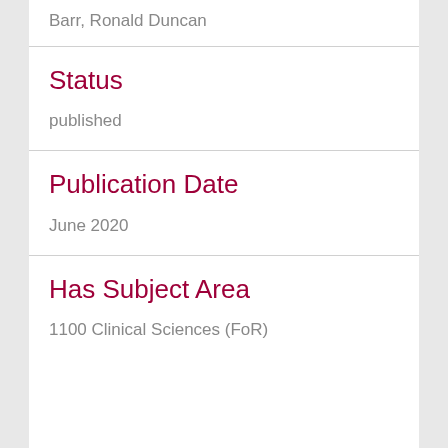Barr, Ronald Duncan
Status
published
Publication Date
June 2020
Has Subject Area
1100 Clinical Sciences (FoR)